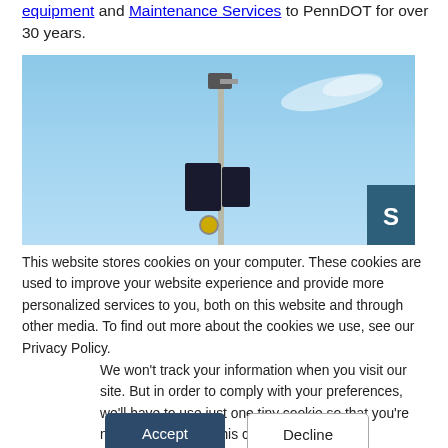equipment and Maintenance Services to PennDOT for over 30 years.
[Figure (photo): A traffic camera or communications equipment mounted on a tall pole against a blue sky with some clouds. A dark rectangular sign is attached to the pole. A yellow circular indicator is visible near the bottom of the pole. A teal/dark blue overlay panel is partially visible at the right edge.]
This website stores cookies on your computer. These cookies are used to improve your website experience and provide more personalized services to you, both on this website and through other media. To find out more about the cookies we use, see our Privacy Policy.
We won't track your information when you visit our site. But in order to comply with your preferences, we'll have to use just one tiny cookie so that you're not asked to make this choice again.